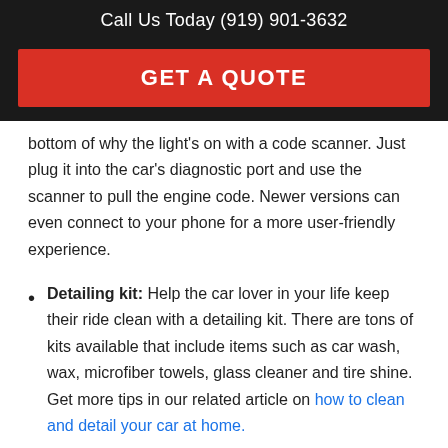Call Us Today (919) 901-3632
GET A QUOTE
bottom of why the light's on with a code scanner. Just plug it into the car's diagnostic port and use the scanner to pull the engine code. Newer versions can even connect to your phone for a more user-friendly experience.
Detailing kit: Help the car lover in your life keep their ride clean with a detailing kit. There are tons of kits available that include items such as car wash, wax, microfiber towels, glass cleaner and tire shine. Get more tips in our related article on how to clean and detail your car at home.